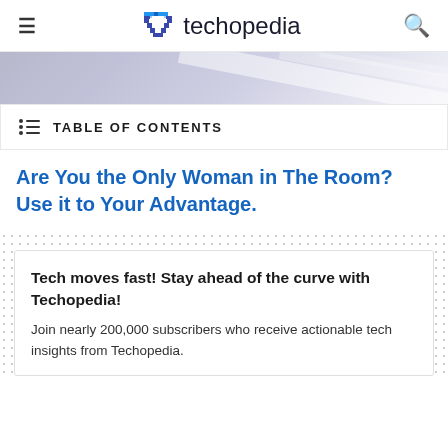techopedia
[Figure (illustration): Banner image with diagonal stripe pattern in light purple/grey tones]
TABLE OF CONTENTS
Are You the Only Woman in The Room? Use it to Your Advantage.
Tech moves fast! Stay ahead of the curve with Techopedia!
Join nearly 200,000 subscribers who receive actionable tech insights from Techopedia.